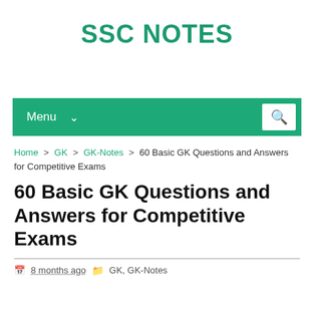SSC NOTES
[Figure (screenshot): Navigation bar with Menu dropdown and search icon on green background]
Home > GK > GK-Notes > 60 Basic GK Questions and Answers for Competitive Exams
60 Basic GK Questions and Answers for Competitive Exams
8 months ago   GK, GK-Notes